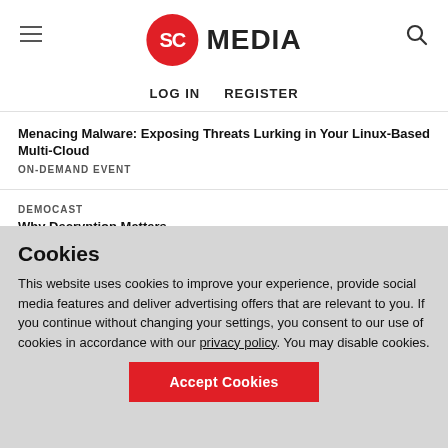SC MEDIA — LOG IN  REGISTER
Menacing Malware: Exposing Threats Lurking in Your Linux-Based Multi-Cloud
ON-DEMAND EVENT
DEMOCAST
Why Decryption Matters
ON-DEMAND EVENT
[Figure (other): Blue advertisement banner]
Cookies
This website uses cookies to improve your experience, provide social media features and deliver advertising offers that are relevant to you. If you continue without changing your settings, you consent to our use of cookies in accordance with our privacy policy. You may disable cookies.
Accept Cookies